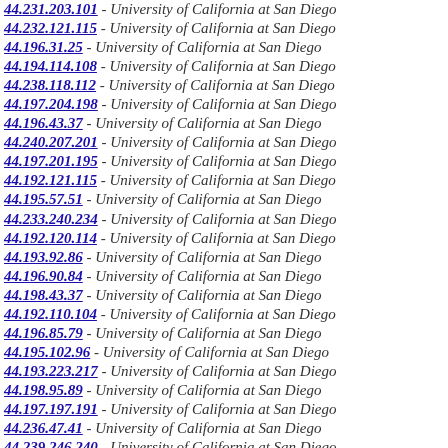44.231.203.101 - University of California at San Diego
44.232.121.115 - University of California at San Diego
44.196.31.25 - University of California at San Diego
44.194.114.108 - University of California at San Diego
44.238.118.112 - University of California at San Diego
44.197.204.198 - University of California at San Diego
44.196.43.37 - University of California at San Diego
44.240.207.201 - University of California at San Diego
44.197.201.195 - University of California at San Diego
44.192.121.115 - University of California at San Diego
44.195.57.51 - University of California at San Diego
44.233.240.234 - University of California at San Diego
44.192.120.114 - University of California at San Diego
44.193.92.86 - University of California at San Diego
44.196.90.84 - University of California at San Diego
44.198.43.37 - University of California at San Diego
44.192.110.104 - University of California at San Diego
44.196.85.79 - University of California at San Diego
44.195.102.96 - University of California at San Diego
44.193.223.217 - University of California at San Diego
44.198.95.89 - University of California at San Diego
44.197.197.191 - University of California at San Diego
44.236.47.41 - University of California at San Diego
44.239.246.240 - University of California at San Diego
44.199.57.51 - University of California at San Diego
44.198.78.72 - University of California at San Diego
44.199.70.64 - University of California at San Diego
44.226.213.207 - University of California at San Diego
44.240.51.45 - University of California at San Diego
44.193.126.120 - University of California at San Diego
44.199.69.62 - University of California at San Diego